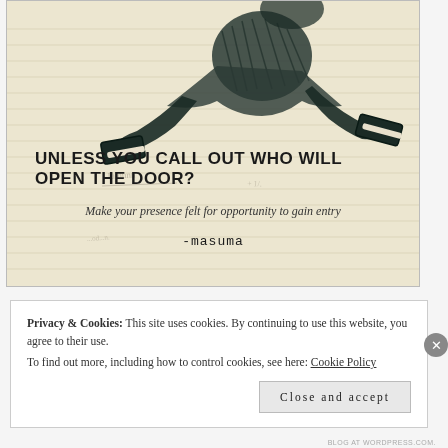[Figure (illustration): Hand-drawn pencil sketch on lined notebook paper showing a figure in dark clothing with sneakers, appearing to be in motion or falling. The background shows faint handwritten notes and lined paper texture.]
UNLESS YOU CALL OUT WHO WILL OPEN THE DOOR?
Make your presence felt for opportunity to gain entry
-masuma
Privacy & Cookies: This site uses cookies. By continuing to use this website, you agree to their use.
To find out more, including how to control cookies, see here: Cookie Policy
Close and accept